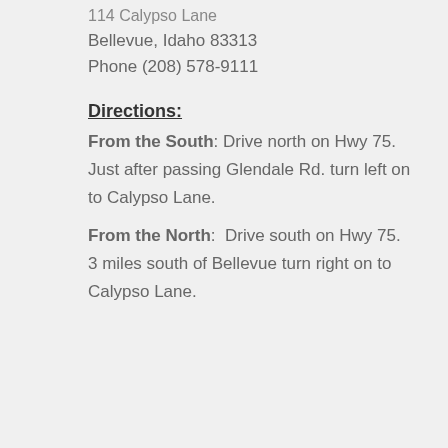114 Calypso Lane
Bellevue, Idaho 83313
Phone (208) 578-9111
Directions:
From the South: Drive north on Hwy 75.  Just after passing Glendale Rd. turn left on to Calypso Lane.
From the North:  Drive south on Hwy 75.  3 miles south of Bellevue turn right on to Calypso Lane.